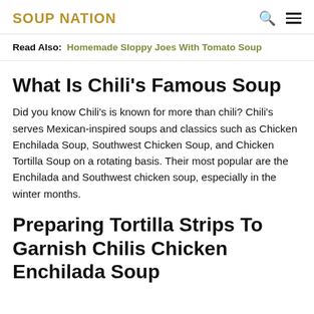SOUP NATION
Read Also: Homemade Sloppy Joes With Tomato Soup
What Is Chili's Famous Soup
Did you know Chili's is known for more than chili? Chili's serves Mexican-inspired soups and classics such as Chicken Enchilada Soup, Southwest Chicken Soup, and Chicken Tortilla Soup on a rotating basis. Their most popular are the Enchilada and Southwest chicken soup, especially in the winter months.
Preparing Tortilla Strips To Garnish Chilis Chicken Enchilada Soup